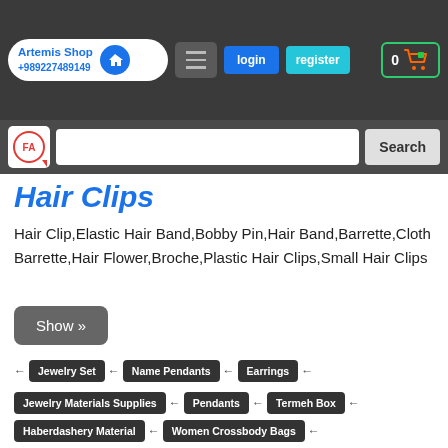[Figure (screenshot): E-commerce website header with Artemis Shop logo, phone number, home icon, hamburger menu, login button, register button, and cart icon showing 0 items]
[Figure (screenshot): Search bar with FA logo badge, text input field, and Search button]
Hair Clips
Hair Clip,Elastic Hair Band,Bobby Pin,Hair Band,Barrette,Cloth Barrette,Hair Flower,Broche,Plastic Hair Clips,Small Hair Clips
Show »
← Jewelry Set ← Name Pendants ← Earrings ←
Jewelry Materials Supplies ← Pendants ← Termeh Box ←
Haberdashery Material ← Women Crossbody Bags ←
Runners Tablecloth ← Assorted Personal Care ←
Keyholders Keychains ← Outfit Accessories ← Handbags ←
Dolls Toys ← Women Purse ← Assorted Jewelry Accessories ←
Carpet Style Items ← Backpacks ← Prayer Items ← Assorted Outfit